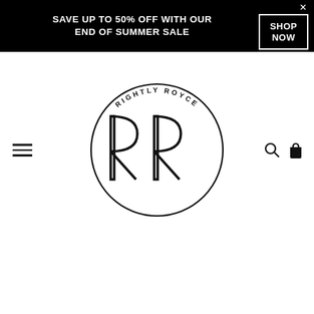SAVE UP TO 50% OFF WITH OUR END OF SUMMER SALE  SHOP NOW
[Figure (logo): Rightly Royce circular logo with RR monogram in the center and 'RIGHTLY ROYCE' text arranged in an arc around the top of the circle]